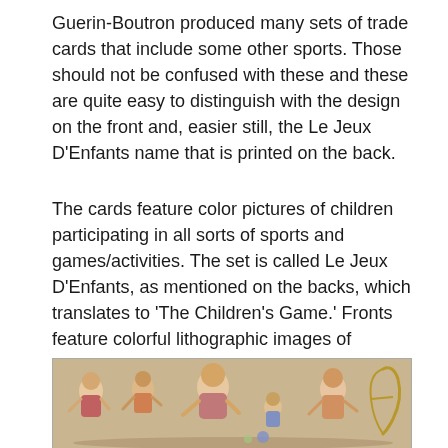Guerin-Boutron produced many sets of trade cards that include some other sports. Those should not be confused with these and these are quite easy to distinguish with the design on the front and, easier still, the Le Jeux D'Enfants name that is printed on the back.
The cards feature color pictures of children participating in all sorts of sports and games/activities. The set is called Le Jeux D'Enfants, as mentioned on the backs, which translates to 'The Children's Game.' Fronts feature colorful lithographic images of children in the various events. Some are legitimate sports while others are more along the lines of a game or activity.
[Figure (photo): A colorful lithographic trade card image showing several children engaged in a game or activity. Children are depicted in vintage illustrated style with warm tones.]